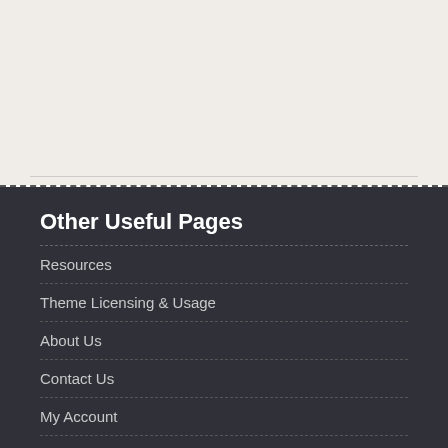Other Useful Pages
Resources
Theme Licensing & Usage
About Us
Contact Us
My Account
Search